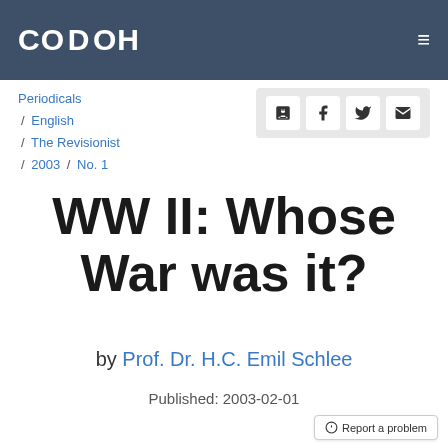CODOH
Periodicals / English / The Revisionist / 2003 / No. 1
WW II: Whose War was it?
by Prof. Dr. H.C. Emil Schlee
Published: 2003-02-01